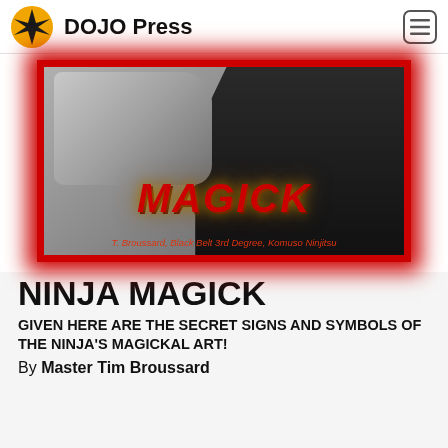DOJO Press
[Figure (photo): Book cover for MAGICK by T. Broussard, Black Belt 3rd Degree, Komuso Ninjitsu. Shows a fist and dark figure in black clothing against a gray background with red border and glowing red MAGICK text.]
NINJA MAGICK
GIVEN HERE ARE THE SECRET SIGNS AND SYMBOLS OF THE NINJA'S MAGICKAL ART!
By Master Tim Broussard